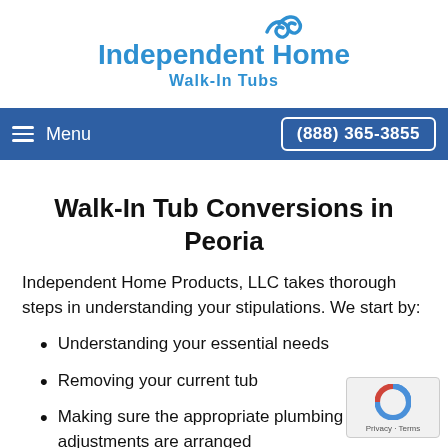[Figure (logo): Independent Home Walk-In Tubs logo with wave icon in blue]
Menu  (888) 365-3855
Walk-In Tub Conversions in Peoria
Independent Home Products, LLC takes thorough steps in understanding your stipulations. We start by:
Understanding your essential needs
Removing your current tub
Making sure the appropriate plumbing and adjustments are arranged